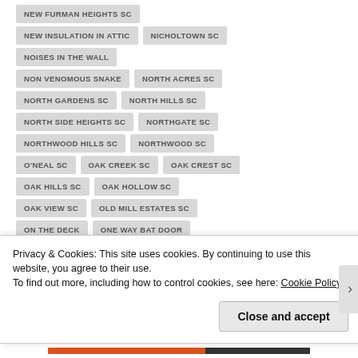NEW FURMAN HEIGHTS SC
NEW INSULATION IN ATTIC
NICHOLTOWN SC
NOISES IN THE WALL
NON VENOMOUS SNAKE
NORTH ACRES SC
NORTH GARDENS SC
NORTH HILLS SC
NORTH SIDE HEIGHTS SC
NORTHGATE SC
NORTHWOOD HILLS SC
NORTHWOOD SC
O'NEAL SC
OAK CREEK SC
OAK CREST SC
OAK HILLS SC
OAK HOLLOW SC
OAK VIEW SC
OLD MILL ESTATES SC
ON THE DECK
ONE WAY BAT DOOR
Privacy & Cookies: This site uses cookies. By continuing to use this website, you agree to their use.
To find out more, including how to control cookies, see here: Cookie Policy
Close and accept